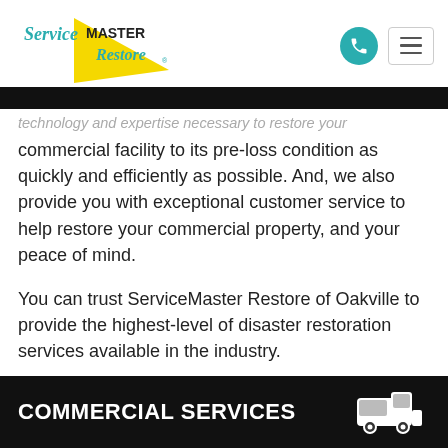[Figure (logo): ServiceMaster Restore logo with teal text and yellow triangle]
technology and expertise necessary to restore your commercial facility to its pre-loss condition as quickly and efficiently as possible. And, we also provide you with exceptional customer service to help restore your commercial property, and your peace of mind.
You can trust ServiceMaster Restore of Oakville to provide the highest-level of disaster restoration services available in the industry.
COMMERCIAL SERVICES